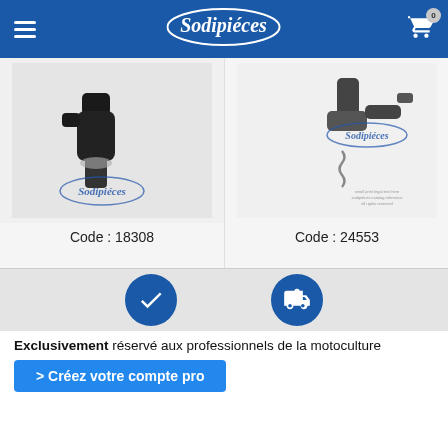Sodipièces
[Figure (photo): Spark plug cap / ignition connector part, black, angled, with Sodipièces watermark stamp. Code: 18308]
Code : 18308
[Figure (photo): Small engine governor throttle part with spring, grey/dark, with Sodipièces watermark stamp. Code: 24553]
Code : 24553
[Figure (infographic): Promotional icons: blue circle with checkmark and blue circle with delivery truck/clock icon]
Exclusivement réservé aux professionnels de la motoculture
> Créez votre compte pro